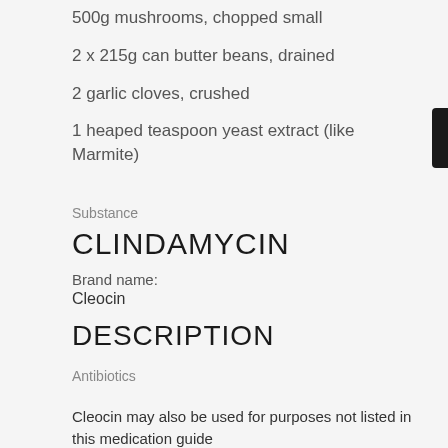500g mushrooms, chopped small
2 x 215g can butter beans, drained
2 garlic cloves, crushed
1 heaped teaspoon yeast extract (like Marmite)
Substance
CLINDAMYCIN
Brand name:
Cleocin
DESCRIPTION
Antibiotics
Cleocin may also be used for purposes not listed in this medication guide
Brands:
Cleocin T, Clindagel, Cleocin HCL, Evoclin, Clindacin P, Clindamycin